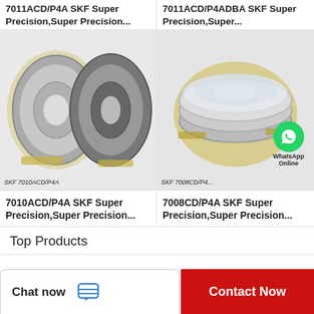7011ACD/P4A SKF Super Precision,Super Precision...
7011ACD/P4ADBA SKF Super Precision,Super...
[Figure (photo): Two SKF angular contact ball bearings (7010ACD/P4A) shown side by side, partly wrapped in protective plastic/yellow padding]
[Figure (photo): SKF 7008CD/P4A bearing in metallic silver, wrapped in clear plastic with yellow protective wrapping, with WhatsApp Online badge overlay]
7010ACD/P4A SKF Super Precision,Super Precision...
7008CD/P4A SKF Super Precision,Super Precision...
Top Products
Chat now
Contact Now